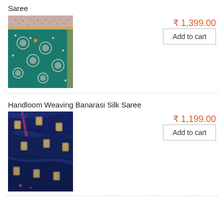Saree
[Figure (photo): Teal/green silk saree with silver embroidered motifs and beige/gold border]
₹ 1,399.00
Add to cart
Handloom Weaving Banarasi Silk Saree
[Figure (photo): Deep blue/navy Banarasi silk saree with gold woven motifs]
₹ 1,199.00
Add to cart